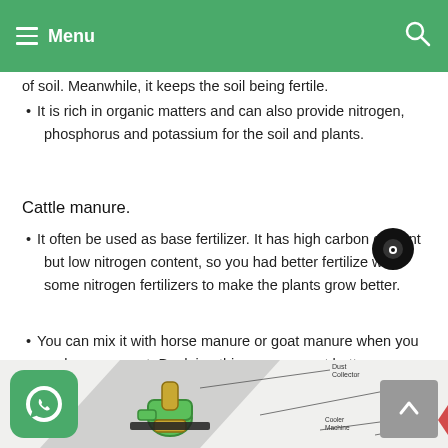Menu
of soil. Meanwhile, it keeps the soil being fertile.
It is rich in organic matters and can also provide nitrogen, phosphorus and potassium for the soil and plants.
Cattle manure.
It often be used as base fertilizer. It has high carbon content but low nitrogen content, so you had better fertilize with some nitrogen fertilizers to make the plants grow better.
You can mix it with horse manure or goat manure when you make a compost. By doing this, you may get better fertilizer.
[Figure (engineering-diagram): Partial view of a fertilizer machine diagram showing components labeled Dust Collector, Bale Crossover, Cooler Machine, Screener Machine, Chain conveyor, with green mechanical parts visible at bottom left.]